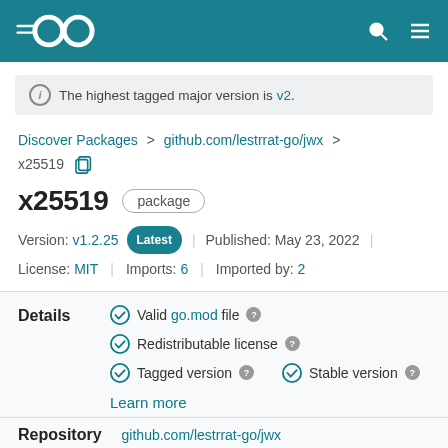Go (Golang) package repository header
The highest tagged major version is v2.
Discover Packages > github.com/lestrrat-go/jwx > x25519
x25519 package
Version: v1.2.25 Latest | Published: May 23, 2022 | License: MIT | Imports: 6 | Imported by: 2
Details
Valid go.mod file
Redistributable license
Tagged version
Stable version
Learn more
Repository
github.com/lestrrat-go/jwx